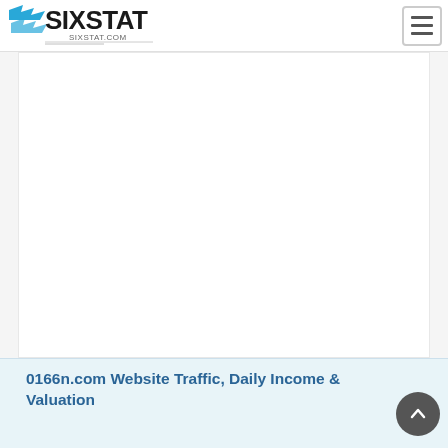[Figure (logo): SixStat.com logo with blue chevron/speed marks and text SIXSTAT in black bold, SIXSTAT.COM in small text below]
[Figure (screenshot): Hamburger menu icon button (three horizontal lines) in top right corner]
[Figure (other): Large white blank advertisement/content placeholder area in the center of the page]
[Figure (other): Back-to-top circular dark button with upward chevron arrow in bottom right corner]
0166n.com Website Traffic, Daily Income & Valuation